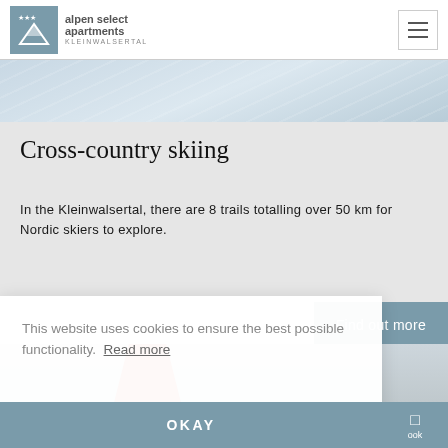[Figure (logo): Alpen Select Apartments Kleinwalsertal logo with mountain triangle icon and hamburger menu button]
[Figure (photo): Hero image strip showing snowy ski slope scene]
Cross-country skiing
In the Kleinwalsertal, there are 8 trails totalling over 50 km for Nordic skiers to explore.
[Figure (photo): Photo strip showing people in ski gear on a snowy mountain]
This website uses cookies to ensure the best possible functionality. Read more
OKAY